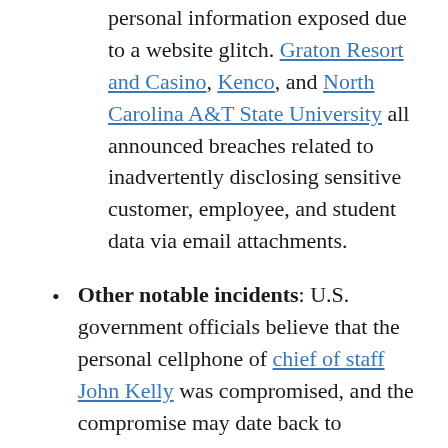personal information exposed due to a website glitch. Graton Resort and Casino, Kenco, and North Carolina A&T State University all announced breaches related to inadvertently disclosing sensitive customer, employee, and student data via email attachments.
Other notable incidents: U.S. government officials believe that the personal cellphone of chief of staff John Kelly was compromised, and the compromise may date back to December 2016. The R6DB gaming service, which provides statistics for Rainbow Six Siege gamers, said that an automated bot breached its PostgreSQL installation and